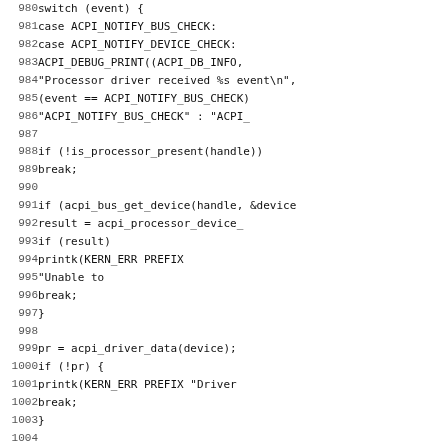[Figure (other): Source code listing showing lines 980-1011 of a C kernel driver file with line numbers on the left and code on the right, in monospace font.]